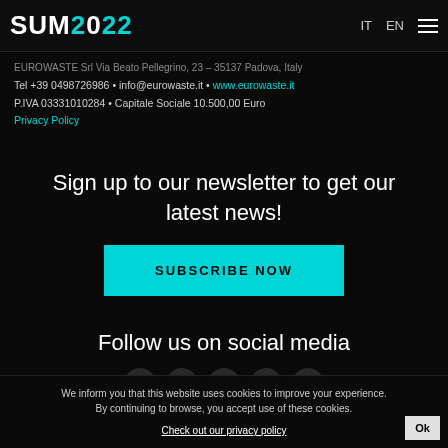SUM2022  IT  EN
EUROWASTE Srl Via Beato Pellegrino, 23 – 35137 Padova, Italy
Tel +39 0498726986 • info@eurowaste.it • www.eurowaste.it
P.IVA 03331010284 • Capitale Sociale 10.500,00 Euro
Privacy Policy
Sign up to our newsletter to get our latest news!
SUBSCRIBE NOW
Follow us on social media
[Figure (illustration): Social media icons (partially visible)]
We inform you that this website uses cookies to improve your experience. By continuing to browse, you accept use of these cookies.
Check out our privacy policy